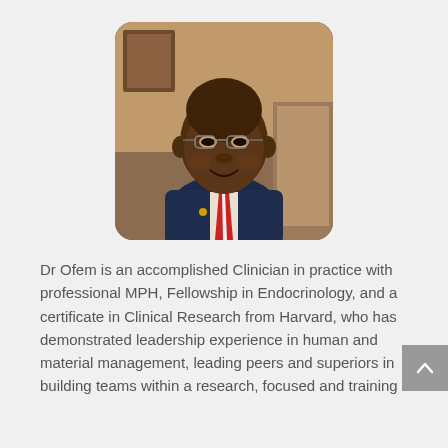[Figure (photo): Portrait photo of Dr Ofem, a man wearing glasses, a dark suit, and a red tie with a white stripe, smiling, seated in front of a warm-toned background.]
Dr Ofem is an accomplished Clinician in practice with professional MPH, Fellowship in Endocrinology, and a certificate in Clinical Research from Harvard, who has demonstrated leadership experience in human and material management, leading peers and superiors in building teams within a research, focused and training